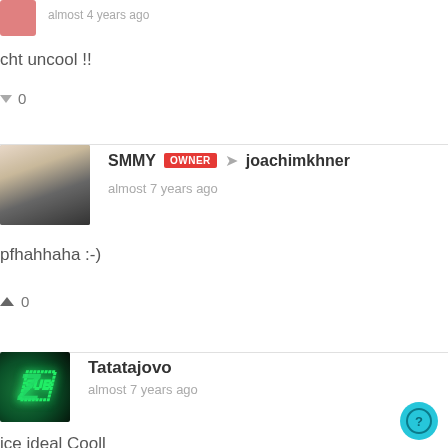almost 4 years ago
cht uncool !!
0
SMMY OWNER → joachimkhner
almost 7 years ago
pfhahhaha :-)
0
Tatatajovo
almost 7 years ago
ice ideal Cooll